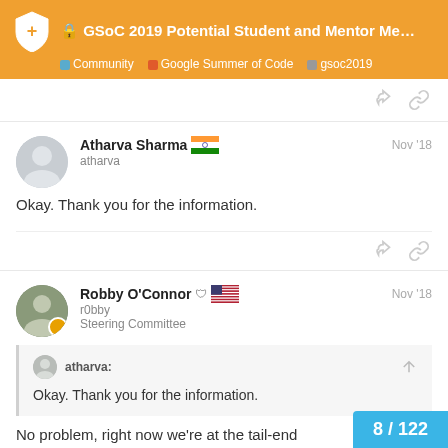GSoC 2019 Potential Student and Mentor Meet... | Community | Google Summer of Code | gsoc2019
Okay. Thank you for the information.
Atharva Sharma atharva Nov '18
Okay. Thank you for the information.
Robby O'Connor r0bby Steering Committee Nov '18
atharva: Okay. Thank you for the information.
No problem, right now we're at the tail-end
8 / 122